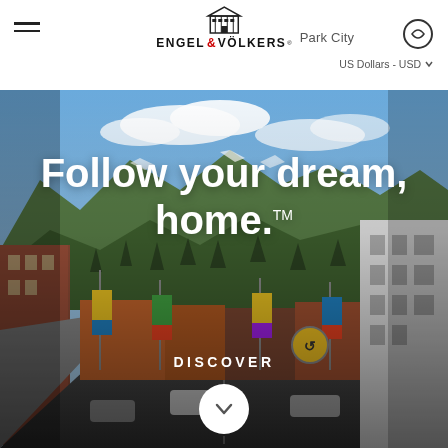Engel & Völkers Park City — US Dollars - USD
[Figure (photo): Street view of Park City, Utah with mountain backdrop covered in trees and snow patches. Historic main street with colorful storefronts, decorative banners, and parked cars. Blue sky with clouds.]
Follow your dream, home.™
DISCOVER